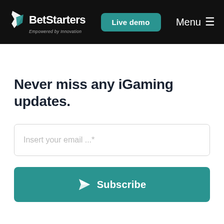BetStarters — Empowered by Innovation | Live demo | Menu
Never miss any iGaming updates.
Insert your email ...*
Subscribe